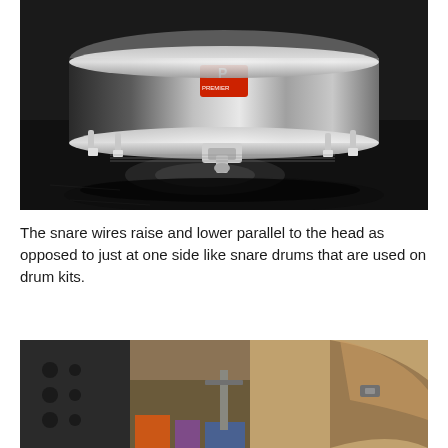[Figure (photo): Close-up photo of a snare drum (Premier brand) showing chrome hardware, tension rods, and snare mechanism on a dark floor surface.]
The snare wires raise and lower parallel to the head as opposed to just at one side like snare drums that are used on drum kits.
[Figure (photo): Photo of a partially constructed drum shell and frame components in a workshop setting, showing wooden and metal parts.]